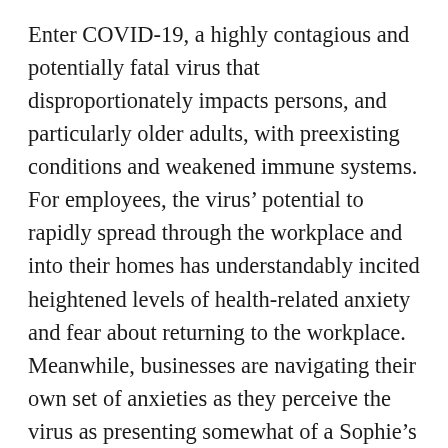Enter COVID-19, a highly contagious and potentially fatal virus that disproportionately impacts persons, and particularly older adults, with preexisting conditions and weakened immune systems. For employees, the virus' potential to rapidly spread through the workplace and into their homes has understandably incited heightened levels of health-related anxiety and fear about returning to the workplace. Meanwhile, businesses are navigating their own set of anxieties as they perceive the virus as presenting somewhat of a Sophie's choice in the context of employee relations – i.e., a choice between, on the one hand, prioritizing employee safety by implementing policies that may be perceived to invade employees' privacy rights, while on the other hand, addressing other privacy rights